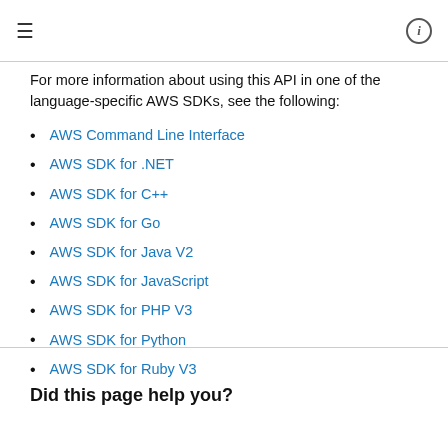≡  ⓘ
For more information about using this API in one of the language-specific AWS SDKs, see the following:
AWS Command Line Interface
AWS SDK for .NET
AWS SDK for C++
AWS SDK for Go
AWS SDK for Java V2
AWS SDK for JavaScript
AWS SDK for PHP V3
AWS SDK for Python
AWS SDK for Ruby V3
Did this page help you?